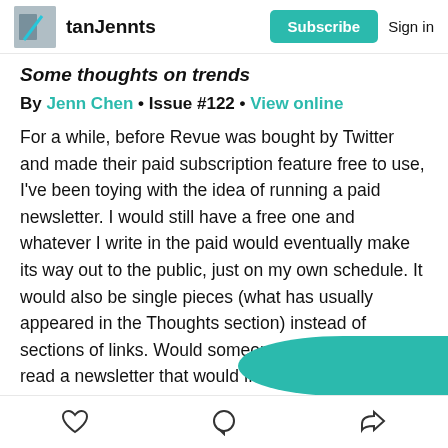tanJennts  Subscribe  Sign in
Some thoughts on trends
By Jenn Chen • Issue #122 • View online
For a while, before Revue was bought by Twitter and made their paid subscription feature free to use, I've been toying with the idea of running a paid newsletter. I would still have a free one and whatever I write in the paid would eventually make its way out to the public, just on my own schedule. It would also be single pieces (what has usually appeared in the Thoughts section) instead of sections of links. Would someone want to pay to read a newsletter that would fluctuate between marketing and non-market…
♡  ○  ➤